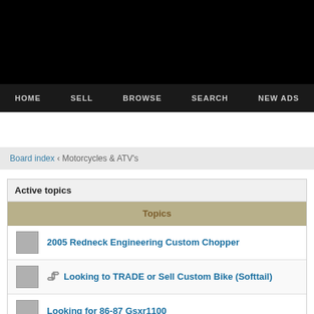HOME  SELL  BROWSE  SEARCH  NEW ADS
Board index ‹ Motorcycles & ATV's
Active topics
|  | Topics |
| --- | --- |
|  | 2005 Redneck Engineering Custom Chopper |
| [attachment] | Looking to TRADE or Sell Custom Bike (Softtail) |
|  | Looking for 86-87 Gsxr1100 |
|  | How do you find people after a sale on mautofied? |
|  | Custom built chopper trike for sale $10000 |